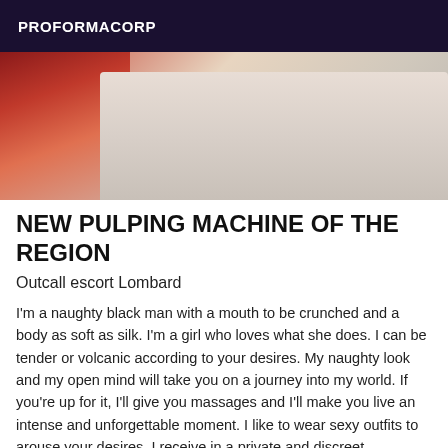PROFORMACORP
[Figure (photo): Partial photo showing a person in red clothing lying on a white surface, cropped at top]
NEW PULPING MACHINE OF THE REGION
Outcall escort Lombard
I'm a naughty black man with a mouth to be crunched and a body as soft as silk. I'm a girl who loves what she does. I can be tender or volcanic according to your desires. My naughty look and my open mind will take you on a journey into my world. If you're up for it, I'll give you massages and I'll make you live an intense and unforgettable moment. I like to wear sexy outfits to arouse your desires. I receive in a private and discreet apartment.